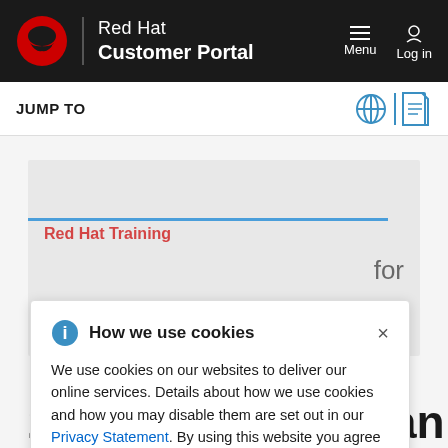Red Hat Customer Portal
JUMP TO
Red Hat Training
for
How we use cookies
We use cookies on our websites to deliver our online services. Details about how we use cookies and how you may disable them are set out in our Privacy Statement. By using this website you agree to our use of cookies.
2.2. Configuring an AD